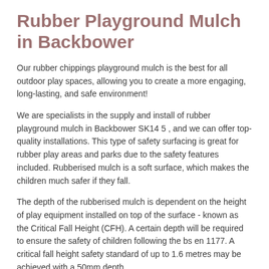Rubber Playground Mulch in Backbower
Our rubber chippings playground mulch is the best for all outdoor play spaces, allowing you to create a more engaging, long-lasting, and safe environment!
We are specialists in the supply and install of rubber playground mulch in Backbower SK14 5 , and we can offer top-quality installations. This type of safety surfacing is great for rubber play areas and parks due to the safety features included. Rubberised mulch is a soft surface, which makes the children much safer if they fall.
The depth of the rubberised mulch is dependent on the height of play equipment installed on top of the surface - known as the Critical Fall Height (CFH). A certain depth will be required to ensure the safety of children following the bs en 1177. A critical fall height safety standard of up to 1.6 metres may be achieved with a 50mm depth.